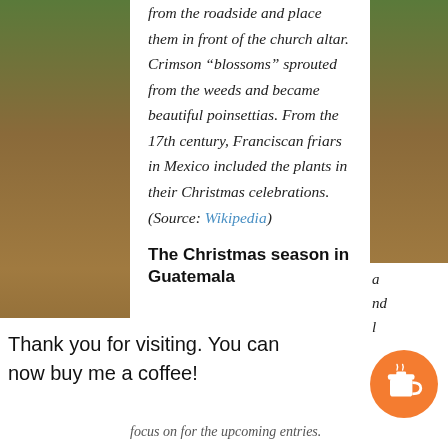from the roadside and place them in front of the church altar. Crimson “blossoms” sprouted from the weeds and became beautiful poinsettias. From the 17th century, Franciscan friars in Mexico included the plants in their Christmas celebrations. (Source: Wikipedia)
The Christmas season in Guatemala
Thank you for visiting. You can now buy me a coffee!
focus on for the upcoming entries.